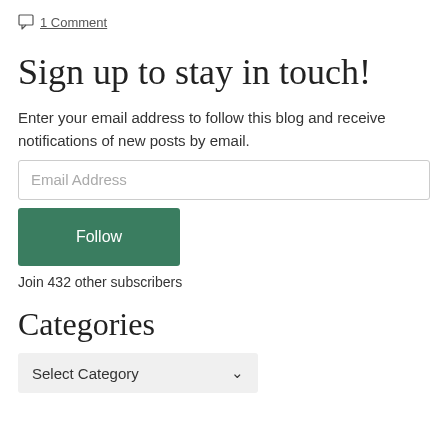1 Comment
Sign up to stay in touch!
Enter your email address to follow this blog and receive notifications of new posts by email.
Email Address
Follow
Join 432 other subscribers
Categories
Select Category